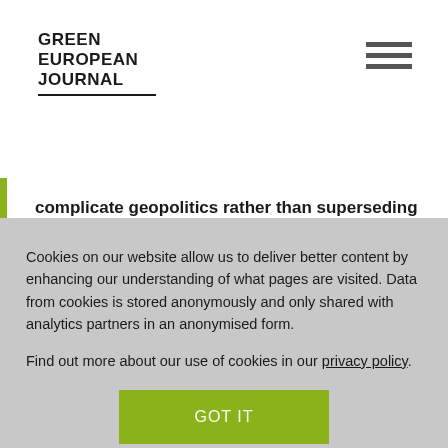GREEN EUROPEAN JOURNAL
complicate geopolitics rather than superseding it?
Cookies on our website allow us to deliver better content by enhancing our understanding of what pages are visited. Data from cookies is stored anonymously and only shared with analytics partners in an anonymised form.
Find out more about our use of cookies in our privacy policy.
GOT IT